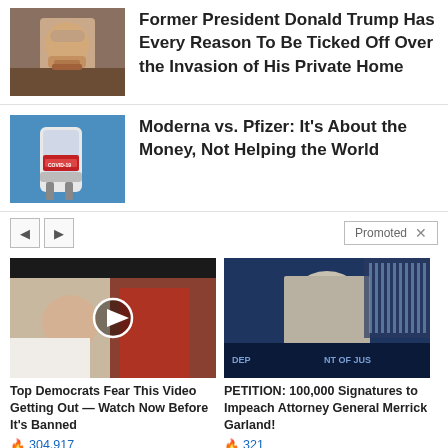[Figure (photo): Photo of Former President Donald Trump]
Former President Donald Trump Has Every Reason To Be Ticked Off Over the Invasion of His Private Home
[Figure (photo): Photo of a COVID-19 vaccine vial being held up]
Moderna vs. Pfizer: It’s About the Money, Not Helping the World
Promoted
[Figure (photo): Video thumbnail of Melania and Donald Trump at a rally with play button overlay]
Top Democrats Fear This Video Getting Out — Watch Now Before It's Banned
304,917
[Figure (photo): Photo of Attorney General Merrick Garland at Department of Justice]
PETITION: 100,000 Signatures to Impeach Attorney General Merrick Garland!
321